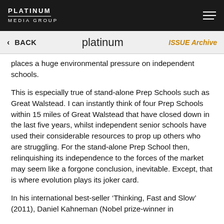PLATINUM MEDIA GROUP
< BACK   platinum   ISSUE Archive
places a huge environmental pressure on independent schools.
This is especially true of stand-alone Prep Schools such as Great Walstead. I can instantly think of four Prep Schools within 15 miles of Great Walstead that have closed down in the last five years, whilst independent senior schools have used their considerable resources to prop up others who are struggling. For the stand-alone Prep School then, relinquishing its independence to the forces of the market may seem like a forgone conclusion, inevitable. Except, that is where evolution plays its joker card.
In his international best-seller ‘Thinking, Fast and Slow’ (2011), Daniel Kahneman (Nobel prize-winner in